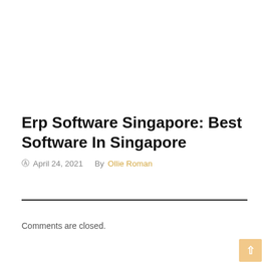Erp Software Singapore: Best Software In Singapore
© April 24, 2021   By Ollie Roman
Comments are closed.